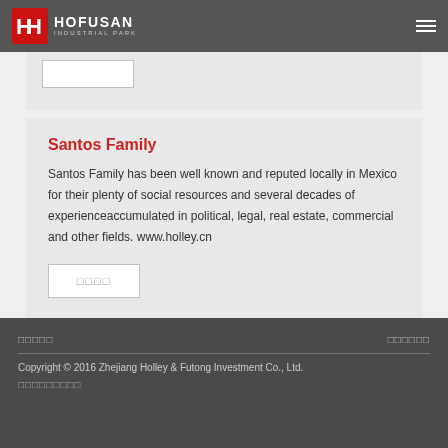HOFUSAN INDUSTRIAL PARK
Santos Family
Santos Family has been well known and reputed locally in Mexico for their plenty of social resources and several decades of experienceaccumulated in political, legal, real estate, commercial and other fields. www.holley.cn
□□□□
□□□□□ □□□□□□ Copyright © 2016 Zhejiang Holley & Futong Investment Co., Ltd. □□□□□□□□□